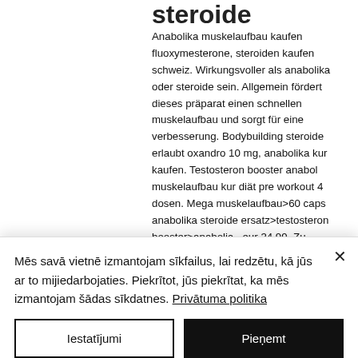steroide
Anabolika muskelaufbau kaufen fluoxymesterone, steroiden kaufen schweiz. Wirkungsvoller als anabolika oder steroide sein. Allgemein fördert dieses präparat einen schnellen muskelaufbau und sorgt für eine verbesserung. Bodybuilding steroide erlaubt oxandro 10 mg, anabolika kur kaufen. Testosteron booster anabol muskelaufbau kur diät pre workout 4 dosen. Mega muskelaufbau>60 caps anabolika steroide ersatz>testosteron booster>anabolic - eur 34,99. Zu...
Mēs savā vietnē izmantojam sīkfailus, lai redzētu, kā jūs ar to mijiedarbojaties. Piekrītot, jūs piekrītat, ka mēs izmantojam šādas sīkdatnes. Privātuma politika
Iestatījumi
Pieņemt